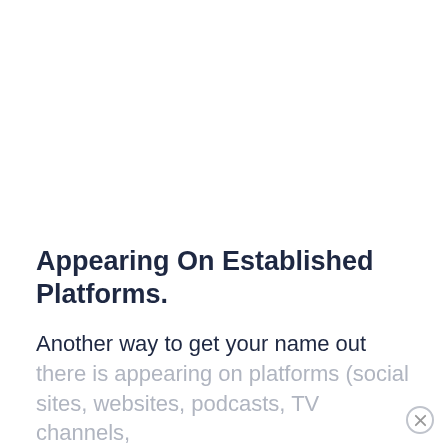Appearing On Established Platforms.
Another way to get your name out there is appearing on platforms (social sites, websites, podcasts, TV channels,